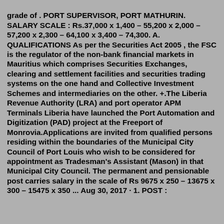grade of . PORT SUPERVISOR, PORT MATHURIN. SALARY SCALE : Rs.37,000 x 1,400 – 55,200 x 2,000 – 57,200 x 2,300 – 64,100 x 3,400 – 74,300. A. QUALIFICATIONS As per the Securities Act 2005 , the FSC is the regulator of the non-bank financial markets in Mauritius which comprises Securities Exchanges, clearing and settlement facilities and securities trading systems on the one hand and Collective Investment Schemes and intermediaries on the other. +.The Liberia Revenue Authority (LRA) and port operator APM Terminals Liberia have launched the Port Automation and Digitization (PAD) project at the Freeport of Monrovia.Applications are invited from qualified persons residing within the boundaries of the Municipal City Council of Port Louis who wish to be considered for appointment as Tradesman's Assistant (Mason) in that Municipal City Council. The permanent and pensionable post carries salary in the scale of Rs 9675 x 250 – 13675 x 300 – 15475 x 350 ... Aug 30, 2017 · 1. POST : MANAGER LIEUTENANT STANDARD OF